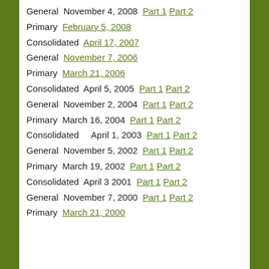General  November 4, 2008  Part 1 Part 2
Primary  February 5, 2008
Consolidated  April 17, 2007
General  November 7, 2006
Primary  March 21, 2006
Consolidated  April 5, 2005  Part 1 Part 2
General  November 2, 2004  Part 1 Part 2
Primary  March 16, 2004  Part 1 Part 2
Consolidated    April 1, 2003  Part 1 Part 2
General  November 5, 2002  Part 1 Part 2
Primary  March 19, 2002  Part 1 Part 2
Consolidated  April 3 2001  Part 1 Part 2
General  November 7, 2000  Part 1 Part 2
Primary  March 21, 2000